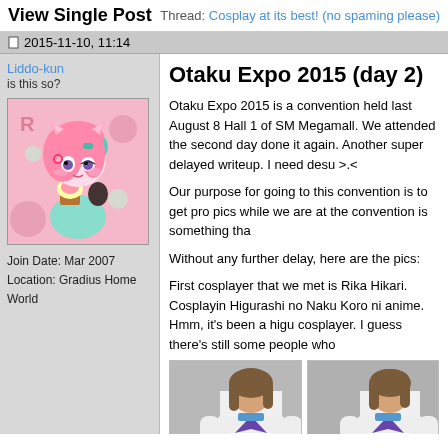View Single Post | Thread: Cosplay at its best! (no spaming please)
2015-11-10, 11:14
Liddo-kun
is this so?
Join Date: Mar 2007
Location: Gradius Home World
[Figure (illustration): Anime avatar of a pink and teal haired girl holding a cupcake]
Otaku Expo 2015 (day 2)
Otaku Expo 2015 is a convention held last August 8 Hall 1 of SM Megamall. We attended the second day done it again. Another super delayed writeup. I need desu >.<
Our purpose for going to this convention is to get pro pics while we are at the convention is something tha
Without any further delay, here are the pics:
First cosplayer that we met is Rika Hikari. Cosplayin Higurashi no Naku Koro ni anime. Hmm, it's been a higu cosplayer. I guess there's still some people who
[Figure (photo): Two photos of a cosplayer in white dress with purple and blue accessories, brown bob haircut]
[Figure (photo): Second photo of same cosplayer from a different angle]